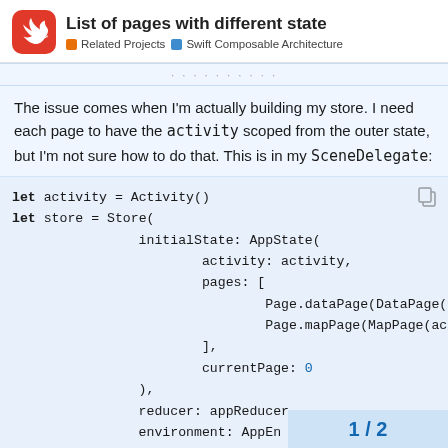List of pages with different state — Related Projects / Swift Composable Architecture
The issue comes when I'm actually building my store. I need each page to have the activity scoped from the outer state, but I'm not sure how to do that. This is in my SceneDelegate:
let activity = Activity()
let store = Store(
    initialState: AppState(
        activity: activity,
        pages: [
            Page.dataPage(DataPage(acti
            Page.mapPage(MapPage(activi
        ],
        currentPage: 0
    ),
    reducer: appReducer,
    environment: AppEn
)
1 / 2